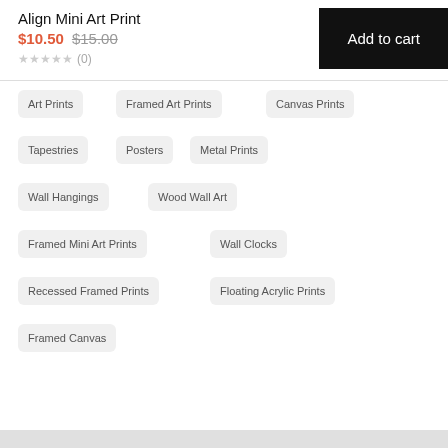Align Mini Art Print
$10.50 $15.00
★★★★★ (0)
Add to cart
Art Prints
Framed Art Prints
Canvas Prints
Tapestries
Posters
Metal Prints
Wall Hangings
Wood Wall Art
Framed Mini Art Prints
Wall Clocks
Recessed Framed Prints
Floating Acrylic Prints
Framed Canvas